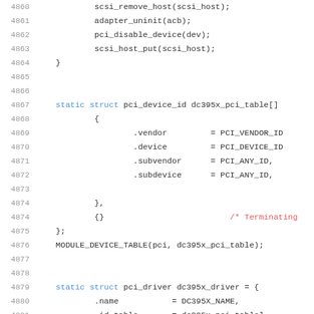[Figure (screenshot): Source code listing showing C code lines 4860-4881, including scsi_remove_host, adapter_uninit, pci_disable_device, scsi_host_put functions, static struct pci_device_id dc395x_pci_table array with vendor/device/subvendor/subdevice fields, MODULE_DEVICE_TABLE macro, and beginning of static struct pci_driver dc395x_driver definition.]